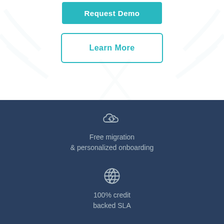[Figure (illustration): Teal 'Request Demo' button with bold white text on white background with faint decorative pattern]
[Figure (illustration): 'Learn More' button with teal border and teal text on white background]
[Figure (infographic): Dark navy background section with cloud migration icon, globe icon, and partial third icon with feature descriptions]
Free migration & personalized onboarding
100% credit backed SLA